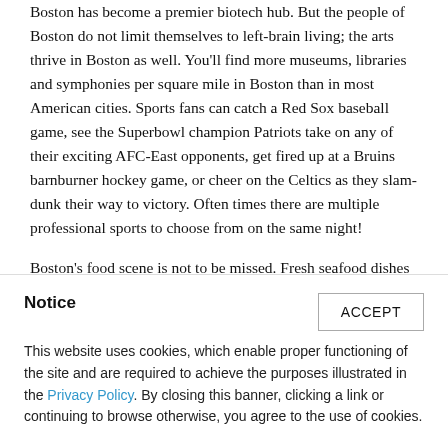Boston has become a premier biotech hub. But the people of Boston do not limit themselves to left-brain living; the arts thrive in Boston as well. You'll find more museums, libraries and symphonies per square mile in Boston than in most American cities. Sports fans can catch a Red Sox baseball game, see the Superbowl champion Patriots take on any of their exciting AFC-East opponents, get fired up at a Bruins barnburner hockey game, or cheer on the Celtics as they slam-dunk their way to victory. Often times there are multiple professional sports to choose from on the same night!
Boston's food scene is not to be missed. Fresh seafood dishes are the star of the show (especially cod, fresh steamed lobster, lobster rolls, oysters on the half-shell and creamy chowder).
Notice
This website uses cookies, which enable proper functioning of the site and are required to achieve the purposes illustrated in the Privacy Policy. By closing this banner, clicking a link or continuing to browse otherwise, you agree to the use of cookies.